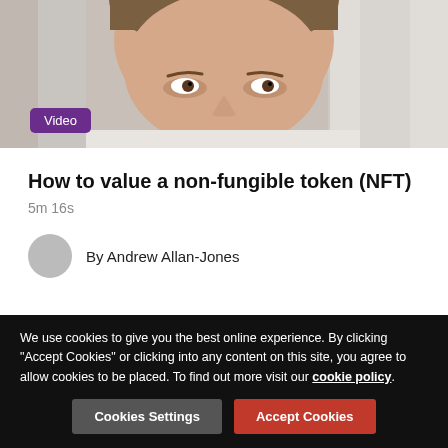[Figure (photo): Close-up photograph of a man with short brown hair, partial face visible, light background (office window)]
Video
How to value a non-fungible token (NFT)
5m 16s
By Andrew Allan-Jones
[Figure (logo): Small logo or brand mark in the lower white section]
We use cookies to give you the best online experience. By clicking "Accept Cookies" or clicking into any content on this site, you agree to allow cookies to be placed. To find out more visit our cookie policy.
Cookies Settings
Accept Cookies